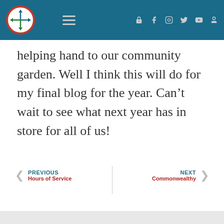[Figure (logo): Website header with circular logo (clock-like compass icon with red outer ring and blue/green quadrant arrows), hamburger menu, and social media icons on a teal/dark blue background]
helping hand to our community garden. Well I think this will do for my final blog for the year. Can't wait to see what next year has in store for all of us!
PREVIOUS Hours of Service | NEXT Commonwealthy